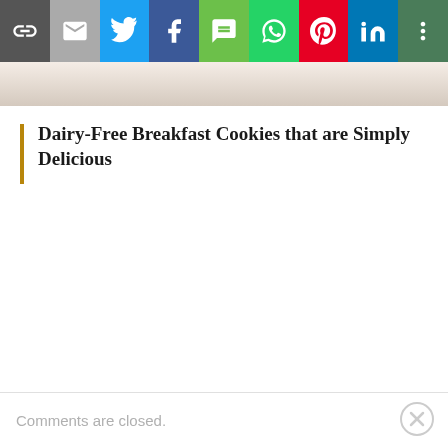[Figure (screenshot): Social sharing toolbar with icons: link, email, Twitter, Facebook, SMS, WhatsApp, Pinterest, LinkedIn, more]
[Figure (photo): Partial photo of cookies on a plate, cropped at bottom]
Dairy-Free Breakfast Cookies that are Simply Delicious
Comments are closed.